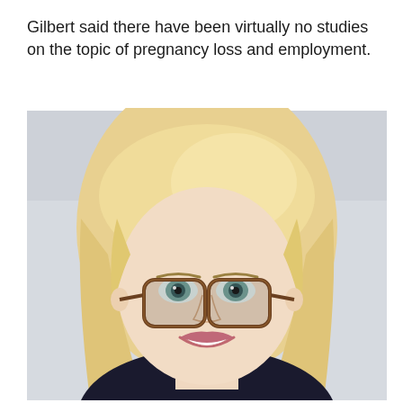Gilbert said there have been virtually no studies on the topic of pregnancy loss and employment.
[Figure (photo): Professional headshot of a smiling woman with long blonde hair, wearing tortoiseshell glasses and a dark top, photographed against a light gray background.]